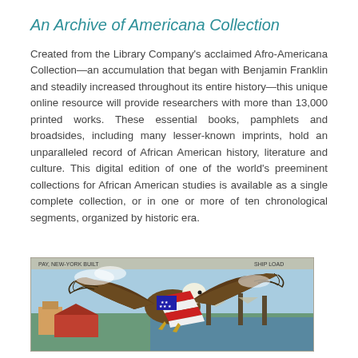An Archive of Americana Collection
Created from the Library Company's acclaimed Afro-Americana Collection—an accumulation that began with Benjamin Franklin and steadily increased throughout its entire history—this unique online resource will provide researchers with more than 13,000 printed works. These essential books, pamphlets and broadsides, including many lesser-known imprints, hold an unparalleled record of African American history, literature and culture. This digital edition of one of the world's preeminent collections for African American studies is available as a single complete collection, or in one or more of ten chronological segments, organized by historic era.
[Figure (illustration): A colorful historical illustration of an American bald eagle with wings spread wide, holding an American flag, with a harbor/city scene in the background. Small text at top reads 'PAY, NEW-YORK BUILT' and 'SHIP LOAD'.]